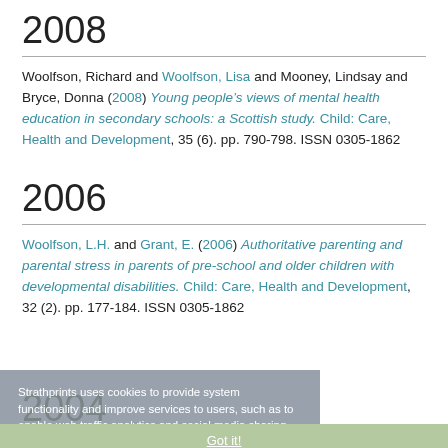2008
Woolfson, Richard and Woolfson, Lisa and Mooney, Lindsay and Bryce, Donna (2008) Young people’s views of mental health education in secondary schools: a Scottish study. Child: Care, Health and Development, 35 (6). pp. 790-798. ISSN 0305-1862
2006
Woolfson, L.H. and Grant, E. (2006) Authoritative parenting and parental stress in parents of pre-school and older children with developmental disabilities. Child: Care, Health and Development, 32 (2). pp. 177-184. ISSN 0305-1862
2004